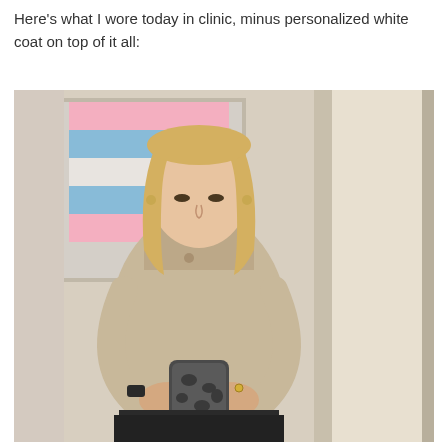Here's what I wore today in clinic, minus personalized white coat on top of it all:
[Figure (photo): Mirror selfie of a blonde woman wearing a beige turtleneck sweater and black skirt, holding a phone with a snakeskin-patterned case. Behind her is a window with a pink and blue striped curtain and a cream-colored wall with a door frame.]